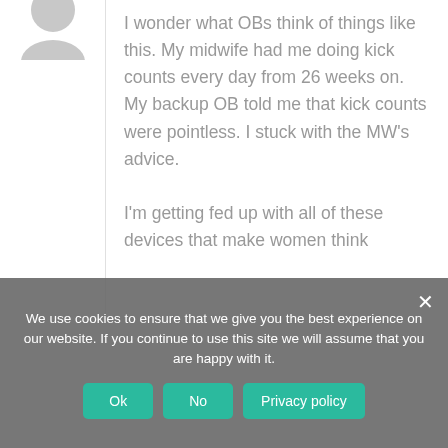[Figure (illustration): Partial gray avatar/profile picture silhouette at top of page]
I wonder what OBs think of things like this. My midwife had me doing kick counts every day from 26 weeks on. My backup OB told me that kick counts were pointless. I stuck with the MW's advice.
I'm getting fed up with all of these devices that make women think
We use cookies to ensure that we give you the best experience on our website. If you continue to use this site we will assume that you are happy with it.